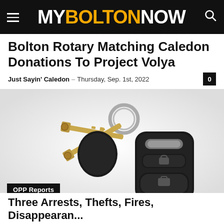MY BOLTON NOW
Bolton Rotary Matching Caledon Donations To Project Volya
Just Sayin' Caledon – Thursday, Sep. 1st, 2022
[Figure (photo): Car keys with a key fob remote on a white background]
OPP Reports
Three Arrests, Thefts, Fires, Disappearances...